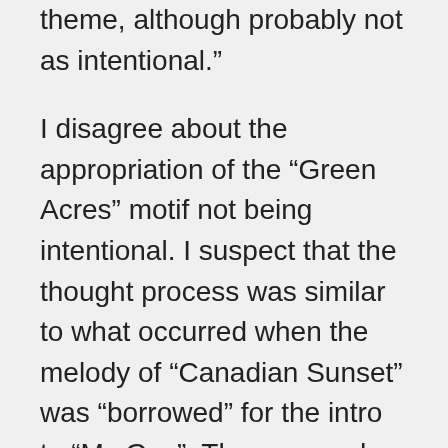theme, although probably not as intentional."
I disagree about the appropriation of the “Green Acres” motif not being intentional. I suspect that the thought process was similar to what occurred when the melody of “Canadian Sunset” was “borrowed” for the intro to “My Guy”: These records were made for the youth market of their time and meant to be ephemeral, with probably little thought or consideration for how (or if) they would be remembered and discussed fifty years later. If using a lick here or there from an “adult” pop record or a TV show theme would help flesh out a song and get it to market quicker, well, who would be the